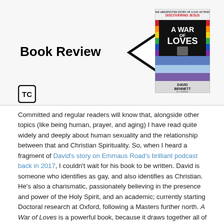Book Review
[Figure (illustration): Black outlined arrow/triangle shape pointing left, next to the Book Review text]
[Figure (photo): Book cover of 'A War of Loves' by David Bennett. Colorful cover with rainbow stripes and dark center. Subtitle: The Unexpected Story of a Gay Activist Discovering Jesus. Foreword by N.T. Wright.]
[Figure (logo): TC logo in a square box, letters TC inside a rounded square border]
Committed and regular readers will know that, alongside other topics (like being human, prayer, and aging) I have read quite widely and deeply about human sexuality and the relationship between that and Christian Spirituality. So, when I heard a fragment of David's story on Emmaus Road's brilliant podcast back in 2017, I couldn't wait for his book to be written. David is someone who identifies as gay, and also identifies as Christian. He's also a charismatic, passionately believing in the presence and power of the Holy Spirit, and an academic; currently starting Doctoral research at Oxford, following a Masters further north. A War of Loves is a powerful book, because it draws together all of